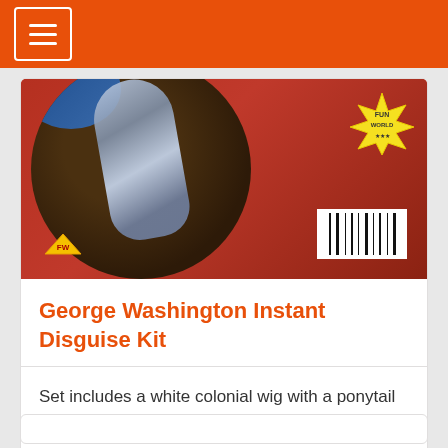[Figure (photo): Product photo of George Washington Instant Disguise Kit packaging — red box with a circular image showing a colonial wig, a yellow starburst badge, and a barcode on the lower right]
George Washington Instant Disguise Kit
Set includes a white colonial wig with a ponytail and a black ribbon
□□□□ □ 3,800 □